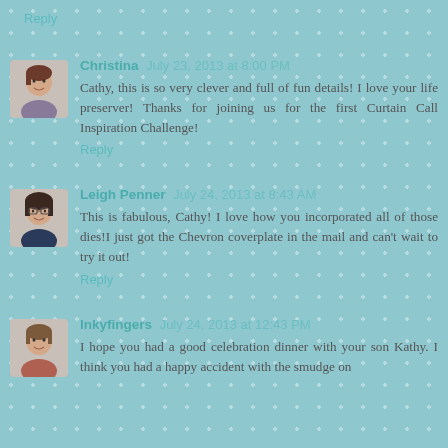Reply
Christina  July 23, 2013 at 8:00 PM
Cathy, this is so very clever and full of fun details! I love your life preserver! Thanks for joining us for the first Curtain Call Inspiration Challenge!
Reply
Leigh Penner  July 24, 2013 at 8:43 AM
This is fabulous, Cathy! I love how you incorporated all of those dies!I just got the Chevron coverplate in the mail and can't wait to try it out!
Reply
Inkyfingers  July 24, 2013 at 12:43 PM
I hope you had a good celebration dinner with your son Kathy. I think you had a happy accident with the smudge on